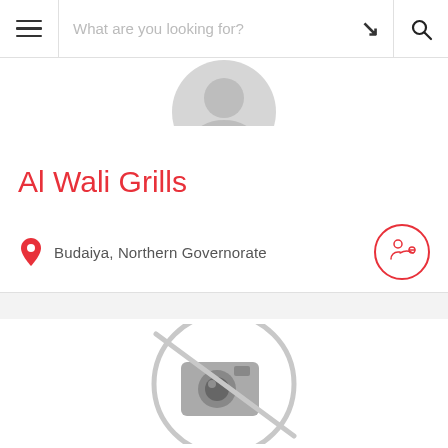What are you looking for?
Al Wali Grills
Budaiya, Northern Governorate
[Figure (illustration): No photo available placeholder: a circle with a camera icon crossed out (no-image symbol) in gray]
[Figure (illustration): Partial circular user profile avatar visible at top of content area]